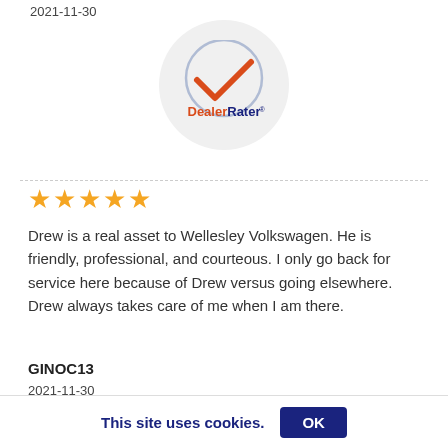2021-11-30
[Figure (logo): DealerRater logo: orange checkmark inside a light blue circle, with text 'Dealer' in orange and 'Rater' in dark blue, inside a grey circular background]
★★★★★
Drew is a real asset to Wellesley Volkswagen. He is friendly, professional, and courteous. I only go back for service here because of Drew versus going elsewhere. Drew always takes care of me when I am there.
GINOC13
2021-11-30
[Figure (logo): Partial DealerRater logo circle at bottom of page]
This site uses cookies.
OK